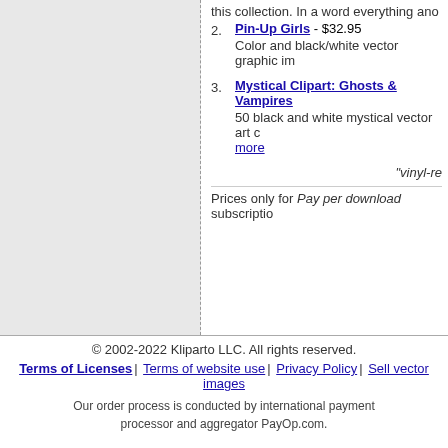this collection. In a word everything ano
2. Pin-Up Girls - $32.95
Color and black/white vector graphic im
3. Mystical Clipart: Ghosts & Vampires
50 black and white mystical vector art c... more
"vinyl-re
Prices only for Pay per download subscriptio
© 2002-2022 Kliparto LLC. All rights reserved.
Terms of Licenses | Terms of website use | Privacy Policy | Sell vector images
Our order process is conducted by international payment processor and aggregator PayOp.com.